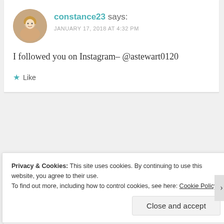constance23 says:
JANUARY 17, 2018 AT 4:32 PM
I followed you on Instagram– @astewart0120
★ Like
[Figure (other): Advertisement banner with dark background: logo icon on left and teal text 'Make money selling online courses.']
REPORT THIS AD
Privacy & Cookies: This site uses cookies. By continuing to use this website, you agree to their use.
To find out more, including how to control cookies, see here: Cookie Policy
Close and accept
REPORT THIS AD